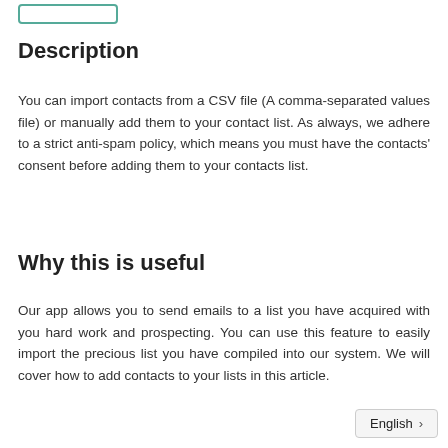[Figure (other): Rounded rectangle button outline at top left]
Description
You can import contacts from a CSV file (A comma-separated values file) or manually add them to your contact list. As always, we adhere to a strict anti-spam policy, which means you must have the contacts' consent before adding them to your contacts list.
Why this is useful
Our app allows you to send emails to a list you have acquired with you hard work and prospecting. You can use this feature to easily import the precious list you have compiled into our system. We will cover how to add contacts to your lists in this article.
English >